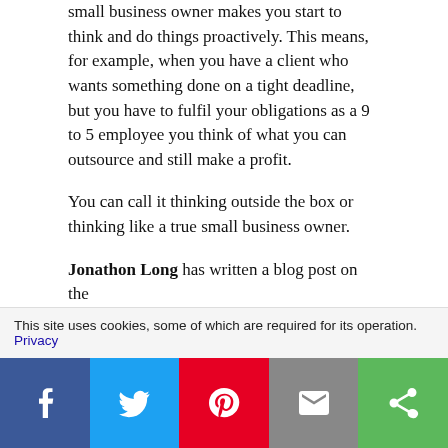small business owner makes you start to think and do things proactively. This means, for example, when you have a client who wants something done on a tight deadline, but you have to fulfil your obligations as a 9 to 5 employee you think of what you can outsource and still make a profit.
You can call it thinking outside the box or thinking like a true small business owner.
Jonathon Long has written a blog post on the
This site uses cookies, some of which are required for its operation. Privacy